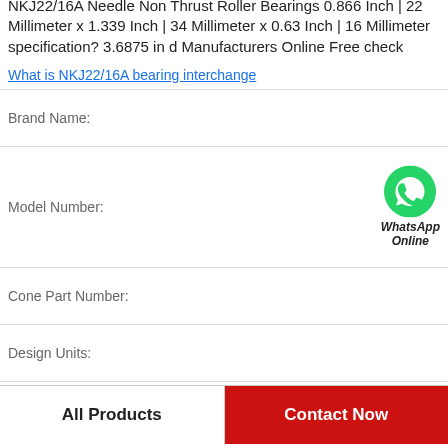NKJ22/16A Needle Non Thrust Roller Bearings 0.866 Inch | 22 Millimeter x 1.339 Inch | 34 Millimeter x 0.63 Inch | 16 Millimeter specification? 3.6875 in d Manufacturers Online Free check↵
What is NKJ22/16A bearing interchange↵
| Field | Value |
| --- | --- |
| Brand Name: |  |
| Model Number: |  |
| Cone Part Number: |  |
| Design Units: |  |
| Cage Type: |  |
| C1 - Dynamic Radial Rating (Two-Row, 1 million revolutions)1: |  |
[Figure (logo): WhatsApp Online green phone icon badge]
All Products
Contact Now